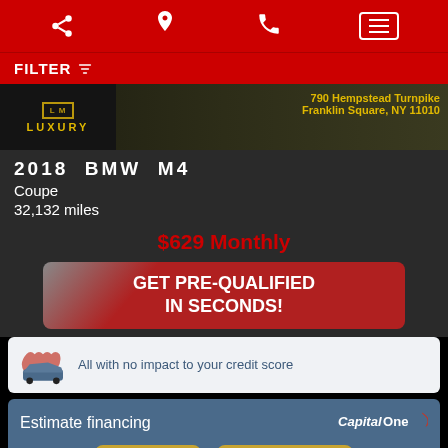[Navigation bar with share, location, phone, and menu icons]
FILTER
[Figure (screenshot): Dealership banner showing Luxury Motors logo and address: 790 Hempstead Turnpike, Franklin Square, NY 11010, with yellow BMW in background]
2018  BMW  M4
Coupe
32,132 miles
$629 Monthly
GET PRE-QUALIFIED IN SECONDS!
All with no impact to your credit score
Estimate financing
Text Us!
Chat with Us!